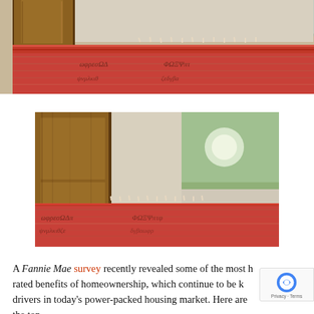[Figure (photo): Close-up photo (cropped top) of a wooden door with a patterned red/orange rug on the floor near a window]
[Figure (photo): Full photo of a wooden door with a patterned red/orange rug on the floor and a window with light in the background]
A Fannie Mae survey recently revealed some of the most h rated benefits of homeownership, which continue to be k drivers in today's power-packed housing market. Here are the top